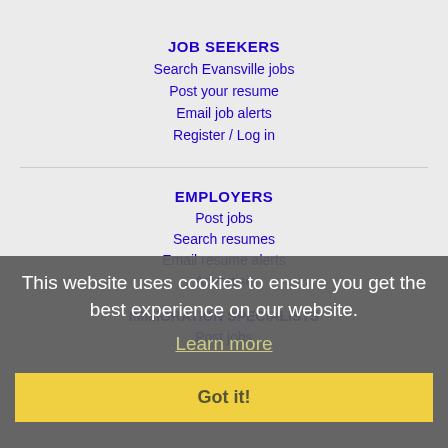JOB SEEKERS
Search Evansville jobs
Post your resume
Email job alerts
Register / Log in
EMPLOYERS
Post jobs
Search resumes
Email resume alerts
Advertise
IMMIGRATION SPECIALISTS
Post jobs
This website uses cookies to ensure you get the best experience on our website.
Learn more
Got it!